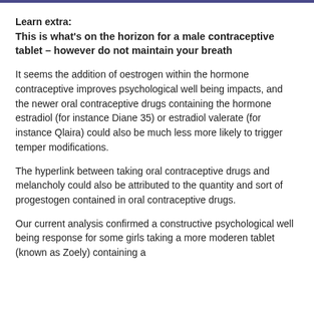Learn extra:
This is what's on the horizon for a male contraceptive tablet – however do not maintain your breath
It seems the addition of oestrogen within the hormone contraceptive improves psychological well being impacts, and the newer oral contraceptive drugs containing the hormone estradiol (for instance Diane 35) or estradiol valerate (for instance Qlaira) could also be much less more likely to trigger temper modifications.
The hyperlink between taking oral contraceptive drugs and melancholy could also be attributed to the quantity and sort of progestogen contained in oral contraceptive drugs.
Our current analysis confirmed a constructive psychological well being response for some girls taking a more moderen tablet (known as Zoely) containing a